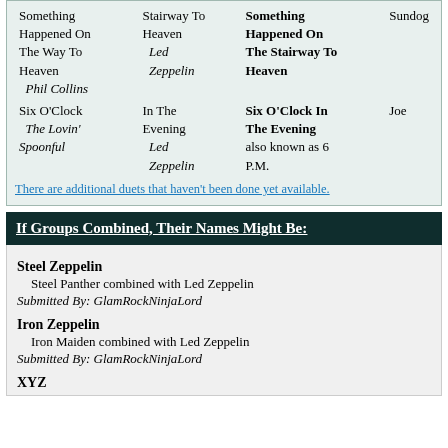| Song (Artist 1) | Song (Artist 2) | Combined Song | Combined Artist |
| --- | --- | --- | --- |
| Something Happened On The Way To Heaven
Phil Collins | Stairway To Heaven
Led Zeppelin | Something Happened On The Stairway To Heaven | Sundog |
| Six O'Clock
The Lovin' Spoonful | In The Evening
Led Zeppelin | Six O'Clock In The Evening
also known as 6 P.M. | Joe |
There are additional duets that haven't been done yet available.
If Groups Combined, Their Names Might Be:
Steel Zeppelin
Steel Panther combined with Led Zeppelin
Submitted By: GlamRockNinjaLord
Iron Zeppelin
Iron Maiden combined with Led Zeppelin
Submitted By: GlamRockNinjaLord
XYZ